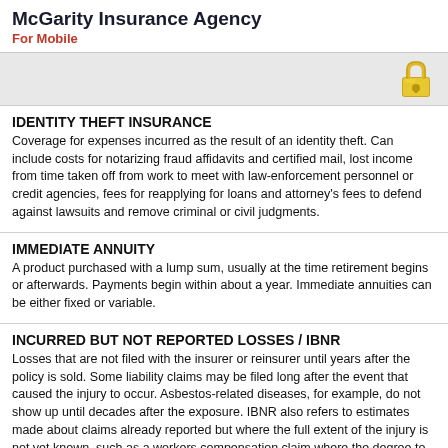McGarity Insurance Agency
For Mobile
[Figure (illustration): Gray banner with a gold padlock icon in the upper right corner]
IDENTITY THEFT INSURANCE
Coverage for expenses incurred as the result of an identity theft. Can include costs for notarizing fraud affidavits and certified mail, lost income from time taken off from work to meet with law-enforcement personnel or credit agencies, fees for reapplying for loans and attorney's fees to defend against lawsuits and remove criminal or civil judgments.
IMMEDIATE ANNUITY
A product purchased with a lump sum, usually at the time retirement begins or afterwards. Payments begin within about a year. Immediate annuities can be either fixed or variable.
INCURRED BUT NOT REPORTED LOSSES / IBNR
Losses that are not filed with the insurer or reinsurer until years after the policy is sold. Some liability claims may be filed long after the event that caused the injury to occur. Asbestos-related diseases, for example, do not show up until decades after the exposure. IBNR also refers to estimates made about claims already reported but where the full extent of the injury is not yet known, such as a workers compensation claim where the degree to which work-related injuries prevents a worker from earning what he or she earned before the injury unfolds over time.